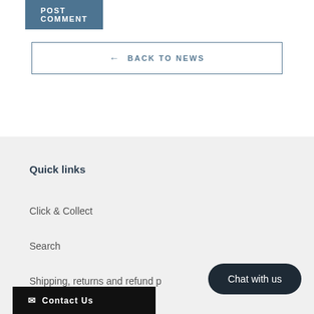POST COMMENT
← BACK TO NEWS
Quick links
Click & Collect
Search
Shipping, returns and refund p…
Chat with us
✉ Contact Us